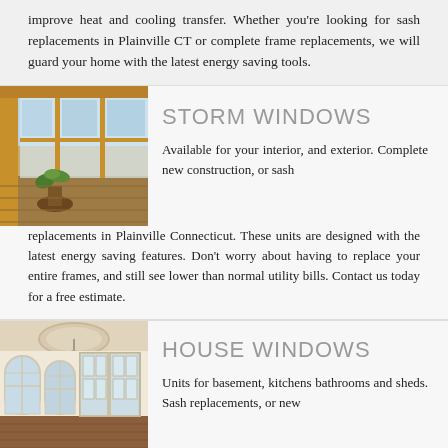improve heat and cooling transfer. Whether you're looking for sash replacements in Plainville CT or complete frame replacements, we will guard your home with the latest energy saving tools.
[Figure (photo): Photo of a sunroom with large wood-framed windows and a potted plant on the deck]
STORM WINDOWS
Available for your interior, and exterior. Complete new construction, or sash replacements in Plainville Connecticut. These units are designed with the latest energy saving features. Don't worry about having to replace your entire frames, and still see lower than normal utility bills. Contact us today for a free estimate.
[Figure (photo): Photo of a bright interior room with large arched windows and French doors]
HOUSE WINDOWS
Units for basement, kitchens bathrooms and sheds. Sash replacements, or new construction. Types include casements, awnings, double